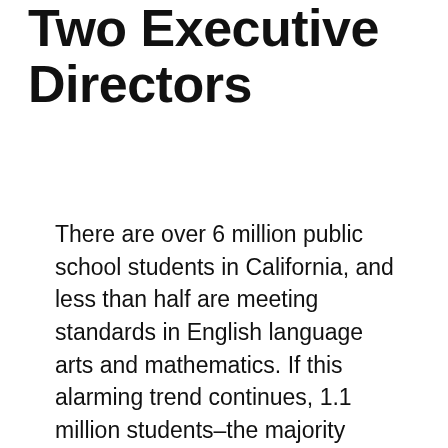Two Executive Directors
There are over 6 million public school students in California, and less than half are meeting standards in English language arts and mathematics. If this alarming trend continues, 1.1 million students–the majority being Latina/o/x, who make up more than half of the public